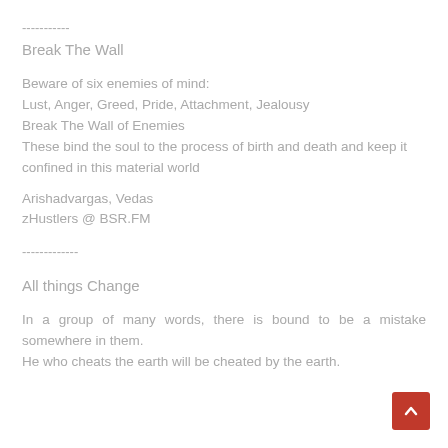-----------
Break The Wall
Beware of six enemies of mind:
Lust, Anger, Greed, Pride, Attachment, Jealousy
Break The Wall of Enemies
These bind the soul to the process of birth and death and keep it confined in this material world
Arishadvargas, Vedas
zHustlers @ BSR.FM
-------------
All things Change
In a group of many words, there is bound to be a mistake somewhere in them.
He who cheats the earth will be cheated by the earth.